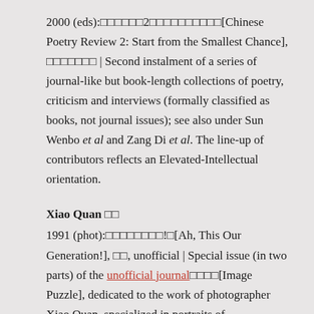2000 (eds):□□□□□□2□□□□□□□□□□[Chinese Poetry Review 2: Start from the Smallest Chance], □□□□□□□ | Second instalment of a series of journal-like but book-length collections of poetry, criticism and interviews (formally classified as books, not journal issues); see also under Sun Wenbo et al and Zang Di et al. The line-up of contributors reflects an Elevated-Intellectual orientation.
Xiao Quan □□
1991 (phot):□□□□□□□□!□[Ah, This Our Generation!], □□, unofficial | Special issue (in two parts) of the unofficial journal□□□□[Image Puzzle], dedicated to the work of photographer Xiao Quan, specialized in portraits of